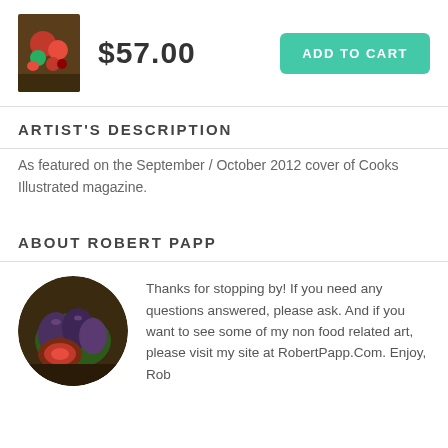[Figure (photo): Small product thumbnail of a painting showing tomatoes and vegetables on a dark background]
$57.00
ADD TO CART
ARTIST'S DESCRIPTION
As featured on the September / October 2012 cover of Cooks Illustrated magazine.
ABOUT ROBERT PAPP
[Figure (photo): Circular avatar photo of figs painting — whole and sliced figs on a dark surface]
Thanks for stopping by! If you need any questions answered, please ask. And if you want to see some of my non food related art, please visit my site at RobertPapp.Com. Enjoy, Rob